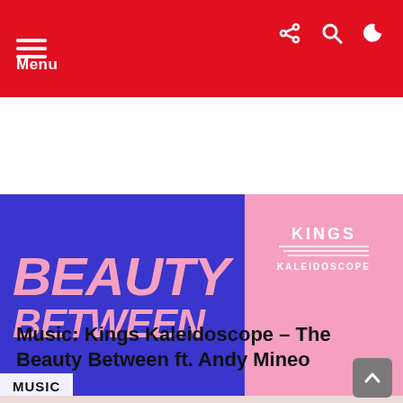Menu
[Figure (illustration): Album art for Kings Kaleidoscope - The Beauty Between. Left side: blue background with large italic pink text reading BEAUTY BETWEEN. Right side: pink background with white Kings Kaleidoscope logo. Music badge overlay bottom left.]
Music: Kings Kaleidoscope – The Beauty Between ft. Andy Mineo
[Figure (photo): Second image partially visible - appears to be a promotional photo with text HOSTILE GOSPEL on pink/mauve background.]